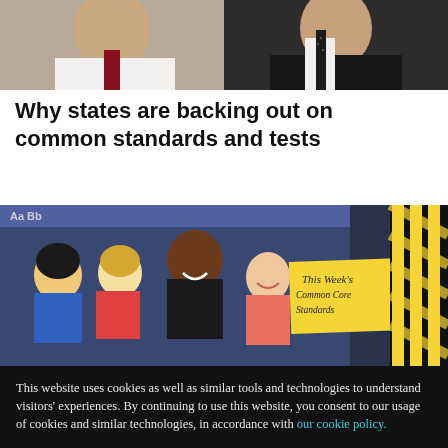[Figure (photo): Two men in professional attire (suits/shirts and ties), cropped to show neck/collar area, side by side.]
Why states are backing out on common standards and tests
[Figure (photo): Classroom bulletin board with colorful cartoon child cutout figures and a yellow sign reading 'This Week's Common Core Standards'.]
This website uses cookies as well as similar tools and technologies to understand visitors' experiences. By continuing to use this website, you consent to our usage of cookies and similar technologies, in accordance with our cookie policy.